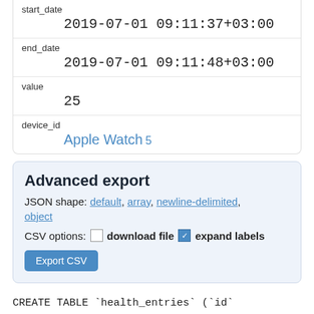| start_date | 2019-07-01 09:11:37+03:00 |
| end_date | 2019-07-01 09:11:48+03:00 |
| value | 25 |
| device_id | Apple Watch 5 |
Advanced export
JSON shape: default, array, newline-delimited, object
CSV options: □ download file ☑ expand labels
Export CSV
CREATE TABLE `health_entries` (`id` integer,`created_at` datetime,`updated_at`